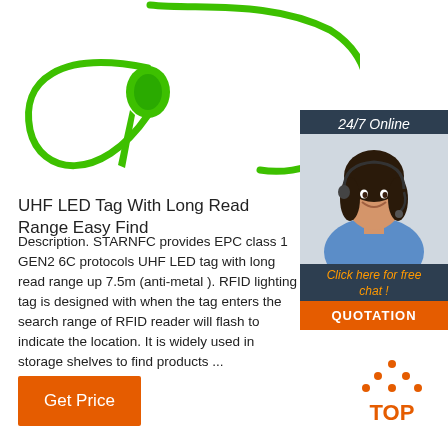[Figure (photo): Green plastic cable tie / RFID UHF LED tag with a long curved green wire/strap on a white background]
[Figure (photo): 24/7 Online customer service widget with a dark background showing a smiling woman with headset, orange 'Click here for free chat!' text and an orange QUOTATION button]
UHF LED Tag With Long Read Range Easy Find
Description. STARNFC provides EPC class 1 GEN2 6C protocols UHF LED tag with long read range up 7.5m (anti-metal ). RFID lighting tag is designed with when the tag enters the search range of RFID reader will flash to indicate the location. It is widely used in storage shelves to find products ...
[Figure (logo): TOP logo with orange dotted triangle/arrow above the word TOP in orange text]
Get Price